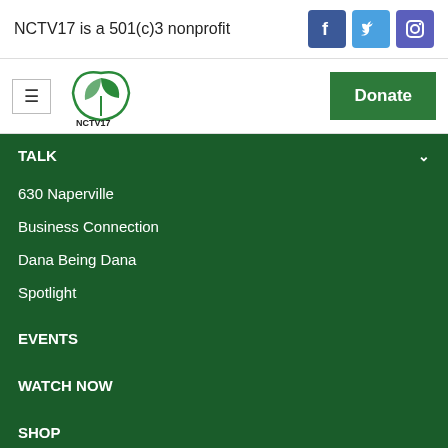NCTV17 is a 501(c)3 nonprofit
[Figure (logo): Facebook icon (white f on blue background)]
[Figure (logo): Twitter bird icon (white on light blue background)]
[Figure (logo): Instagram icon (white on indigo/purple background)]
[Figure (logo): NCTV17 logo - green circular leaf/plant design with NCTV17 text beneath]
Donate
TALK
630 Naperville
Business Connection
Dana Being Dana
Spotlight
EVENTS
WATCH NOW
SHOP
WAYS TO GIVE
STATION INFORMATION